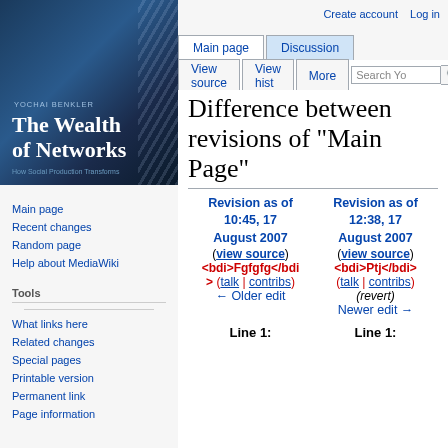[Figure (illustration): Book cover: 'The Wealth of Networks' by Yochai Benkler, dark blue background with spiral wire imagery, subtitle 'How Social Production Transforms']
Main page
Recent changes
Random page
Help about MediaWiki
Tools
What links here
Related changes
Special pages
Printable version
Permanent link
Page information
Create account  Log in
Difference between revisions of "Main Page"
| Revision as of 10:45, 17 August 2007 | Revision as of 12:38, 17 August 2007 |
| --- | --- |
| (view source) | (view source) |
| <bdi>Fgfgfg</bdi> (talk | contribs) | <bdi>Ptj</bdi> (talk | contribs) |
| ← Older edit | (revert)
Newer edit → |
Line 1:
Line 1: